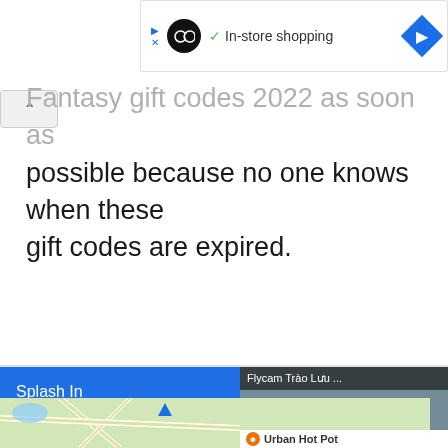[Figure (screenshot): Mobile browser UI bar showing an ad indicator (triangle and X icons in blue), a black circular logo, a green checkmark with 'In-store shopping' text, and a blue diamond navigation arrow on the right.]
Fantasy gift codes 2022 as soon as possible because no one knows when these gift codes are expired.
[Figure (screenshot): Blue advertisement banner for 'Splash In' with headline 'Shine Through Pollen Season' and subtext 'Eco-Friendly Car System & Spot F...'. An overlapping video thumbnail shows 'Flycam Trào Lưu ...' with a play button. Below is a Google Maps strip showing roads and an 'Urban Hot Pot' POI.]